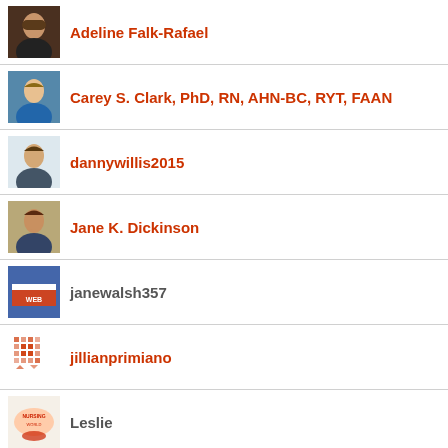Adeline Falk-Rafael
Carey S. Clark, PhD, RN, AHN-BC, RYT, FAAN
dannywillis2015
Jane K. Dickinson
janewalsh357
jillianprimiano
Leslie
Lisa Sundean, PhD, MHA, RN